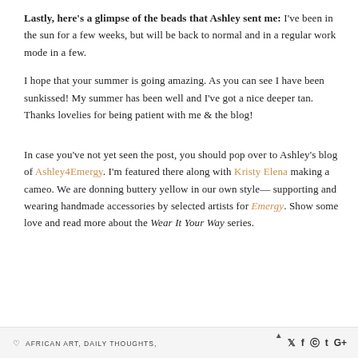Lastly, here's a glimpse of the beads that Ashley sent me: I've been in the sun for a few weeks, but will be back to normal and in a regular work mode in a few.
I hope that your summer is going amazing. As you can see I have been sunkissed! My summer has been well and I've got a nice deeper tan. Thanks lovelies for being patient with me & the blog!
In case you've not yet seen the post, you should pop over to Ashley's blog of Ashley4Emergy. I'm featured there along with Kristy Elena making a cameo. We are donning buttery yellow in our own style— supporting and wearing handmade accessories by selected artists for Emergy. Show some love and read more about the Wear It Your Way series.
♡ AFRICAN ART, DAILY THOUGHTS,